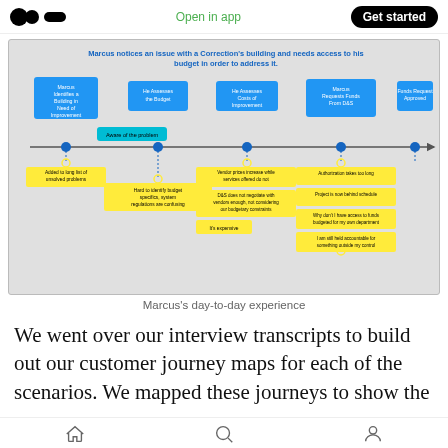Open in app | Get started
[Figure (flowchart): Customer journey map for Marcus showing steps: Marcus Identifies a Building in Need of Improvement, He Assesses the Budget, He Assesses Costs of Improvement, Marcus Requests Funds From D&S, Funds Request Approved. A horizontal timeline with blue dots connects steps. Above timeline: blue boxes with step labels. Below: yellow boxes with pain points like 'Added to long list of unsolved problems', 'Hard to identify budget specifics, system regulations are confusing', 'Vendor prices increase while services offered do not', 'D&S does not negotiate with vendors enough, not considering our budgetary constraints', 'It's expensive', 'Authorization takes too long', 'Project is now behind schedule', 'Why don't I have access to funds budgeted for my own department', 'I am still held accountable for something outside my control'. A cyan box reads 'Aware of the problem'. Title: Marcus notices an issue with a Correction's building and needs access to his budget in order to address it.]
Marcus's day-to-day experience
We went over our interview transcripts to build out our customer journey maps for each of the scenarios. We mapped these journeys to show the
Home | Search | Profile